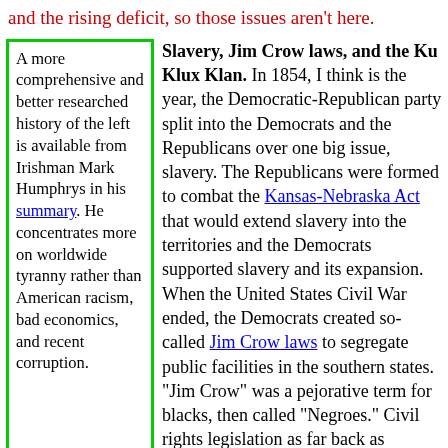and the rising deficit, so those issues aren't here.
A more comprehensive and better researched history of the left is available from Irishman Mark Humphrys in his summary. He concentrates more on worldwide tyranny rather than American racism, bad economics, and recent corruption.
Slavery, Jim Crow laws, and the Ku Klux Klan.
In 1854, I think is the year, the Democratic-Republican party split into the Democrats and the Republicans over one big issue, slavery. The Republicans were formed to combat the Kansas-Nebraska Act that would extend slavery into the territories and the Democrats supported slavery and its expansion. When the United States Civil War ended, the Democrats created so-called Jim Crow laws to segregate public facilities in the southern states. "Jim Crow" was a pejorative term for blacks, then called "Negroes." Civil rights legislation as far back as 1875 first had little effect and then greater, always
1875 first had little effect and then greater, always